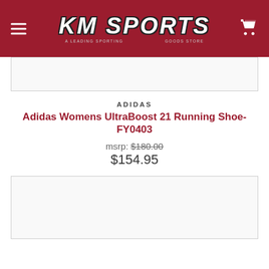KM SPORTS
[Figure (photo): Top portion of product image (shoe), cropped, inside a bordered box]
ADIDAS
Adidas Womens UltraBoost 21 Running Shoe-FY0403
msrp: $180.00
$154.95
[Figure (photo): Bottom product image box, partially visible shoe image]